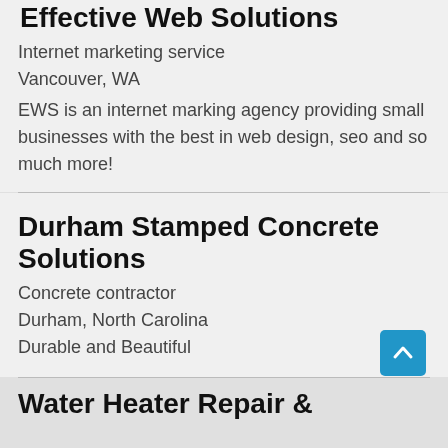Effective Web Solutions
Internet marketing service
Vancouver, WA
EWS is an internet marking agency providing small businesses with the best in web design, seo and so much more!
Durham Stamped Concrete Solutions
Concrete contractor
Durham, North Carolina
Durable and Beautiful
Water Heater Repair &